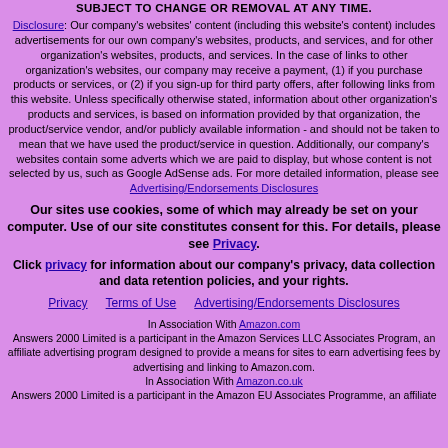SUBJECT TO CHANGE OR REMOVAL AT ANY TIME.
Disclosure: Our company's websites' content (including this website's content) includes advertisements for our own company's websites, products, and services, and for other organization's websites, products, and services. In the case of links to other organization's websites, our company may receive a payment, (1) if you purchase products or services, or (2) if you sign-up for third party offers, after following links from this website. Unless specifically otherwise stated, information about other organization's products and services, is based on information provided by that organization, the product/service vendor, and/or publicly available information - and should not be taken to mean that we have used the product/service in question. Additionally, our company's websites contain some adverts which we are paid to display, but whose content is not selected by us, such as Google AdSense ads. For more detailed information, please see Advertising/Endorsements Disclosures
Our sites use cookies, some of which may already be set on your computer. Use of our site constitutes consent for this. For details, please see Privacy.
Click privacy for information about our company's privacy, data collection and data retention policies, and your rights.
Privacy   Terms of Use   Advertising/Endorsements Disclosures
In Association With Amazon.com Answers 2000 Limited is a participant in the Amazon Services LLC Associates Program, an affiliate advertising program designed to provide a means for sites to earn advertising fees by advertising and linking to Amazon.com. In Association With Amazon.co.uk Answers 2000 Limited is a participant in the Amazon EU Associates Programme, an affiliate